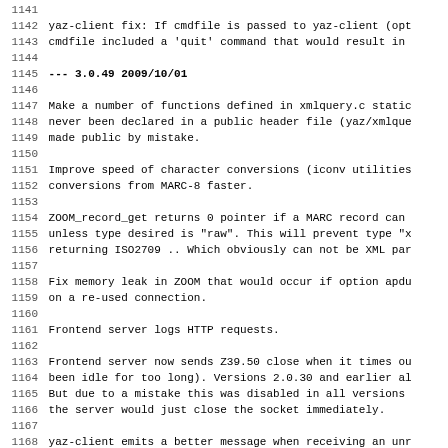1141
1142 yaz-client fix: If cmdfile is passed to yaz-client (opt
1143 cmdfile included a 'quit' command that would result in
1144
1145 --- 3.0.49 2009/10/01
1146
1147 Make a number of functions defined in xmlquery.c static
1148 never been declared in a public header file (yaz/xmlque
1149 made public by mistake.
1150
1151 Improve speed of character conversions (iconv utilities
1152 conversions from MARC-8 faster.
1153
1154 ZOOM_record_get returns 0 pointer if a MARC record can
1155 unless type desired is "raw". This will prevent type "x
1156 returning ISO2709 .. Which obviously can not be XML par
1157
1158 Fix memory leak in ZOOM that would occur if option apdu
1159 on a re-used connection.
1160
1161 Frontend server logs HTTP requests.
1162
1163 Frontend server now sends Z39.50 close when it times ou
1164 been idle for too long). Versions 2.0.30 and earlier al
1165 But due to a mistake this was disabled in all versions
1166 the server would just close the socket immediately.
1167
1168 yaz-client emits a better message when receiving an unr
1169 userInformationField.
1170
1171 Skip zero-length subfields when decoding ISO2709. This
1172 if a record has two FS characters in a sequence. Withou
1173